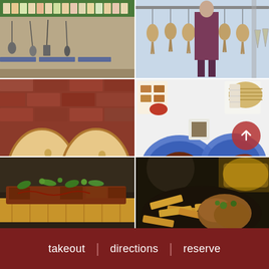[Figure (photo): Interior of a shop or store with shelving, hanging tools/utensils on wall, green shelf with spice jars]
[Figure (photo): Person standing in a poultry processing or storage facility with hanging birds/ducks on hooks]
[Figure (photo): Close-up of two halves of artisan sourdough bread against a red brick wall]
[Figure (photo): Overhead view of a Chinese BBQ spread with roasted meats on blue plates, buns, sauces, and condiments on white background]
[Figure (photo): Close-up of a pulled pork or meat sandwich on a baguette with green herbs and peppers]
[Figure (photo): Close-up of a fried food dish — possibly chicken or seafood with chips/plantains]
takeout | directions | reserve